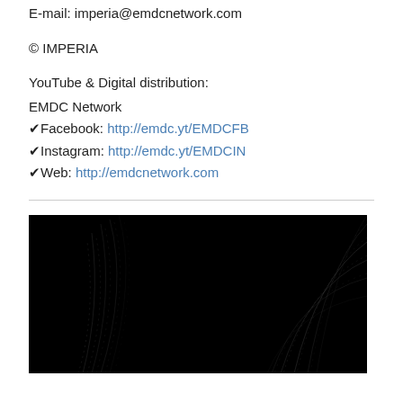E-mail: imperia@emdcnetwork.com
© IMPERIA
YouTube & Digital distribution:
EMDC Network
✔Facebook: http://emdc.yt/EMDCFB
✔Instagram: http://emdc.yt/EMDCIN
✔Web: http://emdcnetwork.com
[Figure (photo): Dark black background image with abstract glowing wave/particle patterns — appears to be an album art or promotional graphic for EMDC Network]